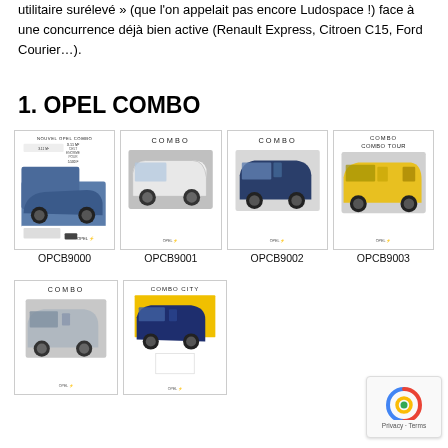utilitaire surélevé » (que l'on appelait pas encore Ludospace !) face à une concurrence déjà bien active (Renault Express, Citroen C15, Ford Courier…).
1. OPEL COMBO
[Figure (other): Grid of Opel Combo brochure catalog images. Row 1: OPCB9000 (blue van ad with text), OPCB9001 (white van on grey bg), OPCB9002 (dark blue van), OPCB9003 (yellow van Combo Tour). Row 2: OPCB9004 (silver/grey van Combo), OPCB9005 (dark blue van Combo City on yellow background).]